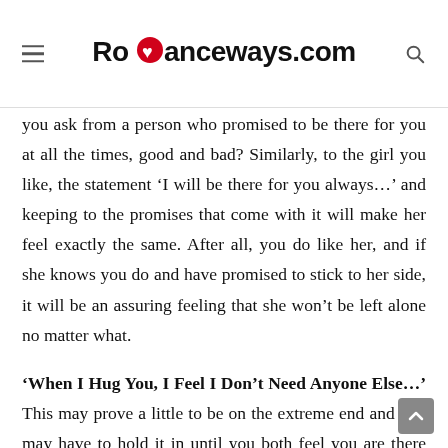Romanceways.com
you ask from a person who promised to be there for you at all the times, good and bad? Similarly, to the girl you like, the statement ‘I will be there for you always…’ and keeping to the promises that come with it will make her feel exactly the same. After all, you do like her, and if she knows you do and have promised to stick to her side, it will be an assuring feeling that she won’t be left alone no matter what.
‘When I Hug You, I Feel I Don’t Need Anyone Else…’ This may prove a little to be on the extreme end and you may have to hold it in until you both feel you are there and have hugged her a few times over: when she needed you and you needed her. The next time there’s a situation that demands you